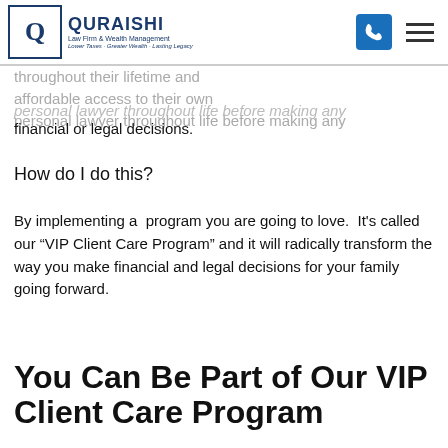Quraishi Law Firm & Wealth Management
throughout their lifetime and affordable access to their own personal lawyer throughout life before making any financial or legal decisions.
How do I do this?
By implementing a program you are going to love. It's called our “VIP Client Care Program” and it will radically transform the way you make financial and legal decisions for your family going forward.
You Can Be Part of Our VIP Client Care Program